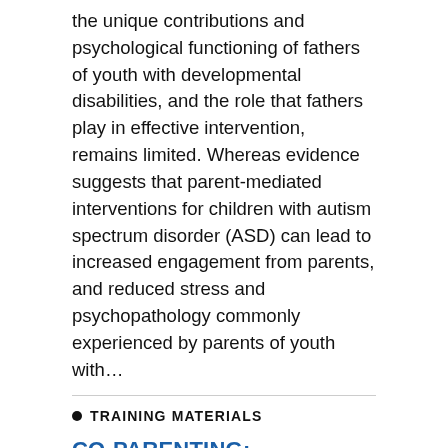the unique contributions and psychological functioning of fathers of youth with developmental disabilities, and the role that fathers play in effective intervention, remains limited. Whereas evidence suggests that parent-mediated interventions for children with autism spectrum disorder (ASD) can lead to increased engagement from parents, and reduced stress and psychopathology commonly experienced by parents of youth with…
TRAINING MATERIALS
CO-PARENTING: RESOURCES AND BEST PRACTICES FOR SERVICE PROVIDERS.
Fathers and mothers who interact positively with each other contribute to their child's positive development in several ways. Young parents can interact positively as romantic partners or as co-parents. While these two aspects of parents' relationships are related, co-parenting (e.g., the ability to support each other's needs as parents) is